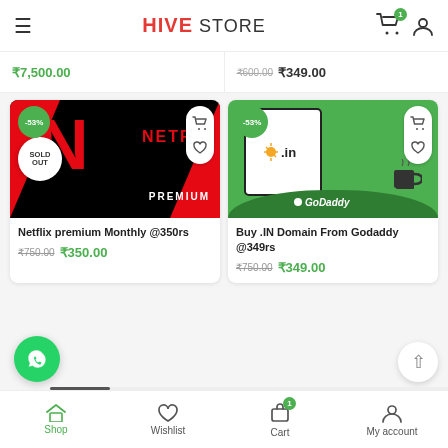HIVE STORE
₹7,500.00
₹600.00  ₹349.00
[Figure (screenshot): Netflix Premium product card with SOLD OUT badge and -53% discount]
Netflix premium Monthly @350rs
₹750.00  ₹350.00
[Figure (screenshot): GoDaddy .IN domain product card with -53% discount]
Buy .IN Domain From Godaddy @349rs
₹750.00  ₹349.00
Shop  Wishlist  Cart  My account